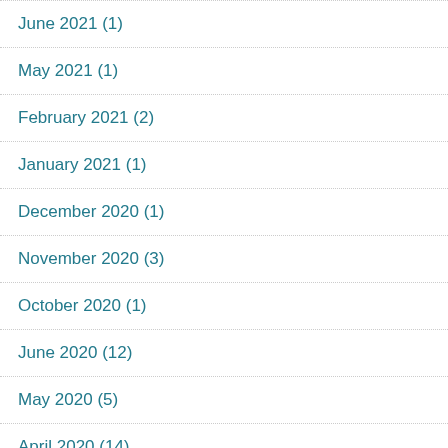June 2021 (1)
May 2021 (1)
February 2021 (2)
January 2021 (1)
December 2020 (1)
November 2020 (3)
October 2020 (1)
June 2020 (12)
May 2020 (5)
April 2020 (14)
March 2020 (16)